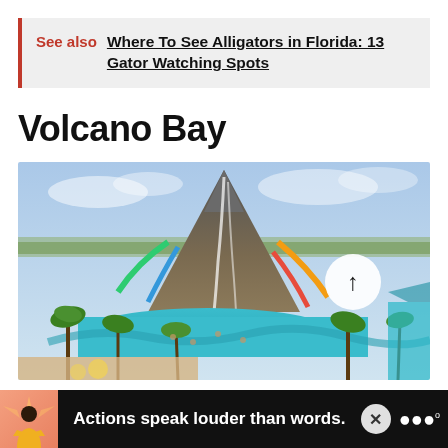See also  Where To See Alligators in Florida: 13 Gator Watching Spots
Volcano Bay
[Figure (photo): Aerial view of Volcano Bay water park at Universal Orlando, showing the large volcanic mountain centerpiece with waterfalls, surrounding pools, colorful slides, palm trees, and a teal lazy river. A circular arrow button overlaid on the image.]
Actions speak louder than words.